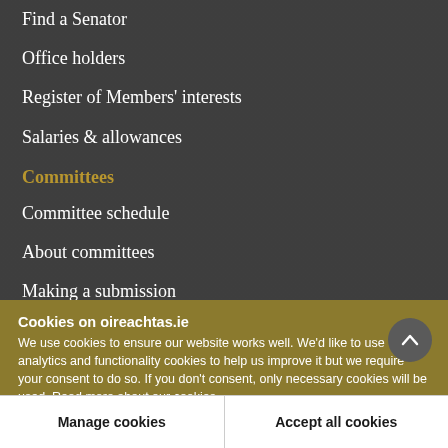Find a Senator
Office holders
Register of Members' interests
Salaries & allowances
Committees
Committee schedule
About committees
Making a submission
Appearing before an Oireachtas Committee
Cookies on oireachtas.ie
We use cookies to ensure our website works well. We'd like to use analytics and functionality cookies to help us improve it but we require your consent to do so. If you don't consent, only necessary cookies will be used. Read more about our cookies
Manage cookies
Accept all cookies